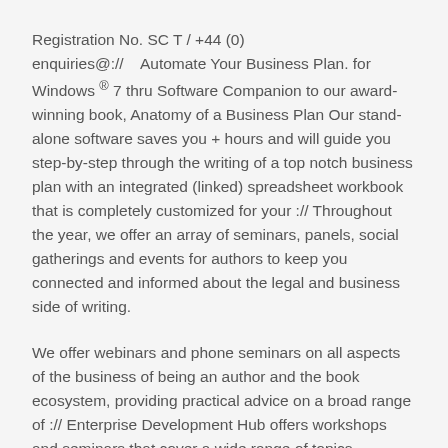Registration No. SC T / +44 (0) enquiries@://    Automate Your Business Plan. for Windows ® 7 thru Software Companion to our award-winning book, Anatomy of a Business Plan Our stand-alone software saves you + hours and will guide you step-by-step through the writing of a top notch business plan with an integrated (linked) spreadsheet workbook that is completely customized for your :// Throughout the year, we offer an array of seminars, panels, social gatherings and events for authors to keep you connected and informed about the legal and business side of writing.
We offer webinars and phone seminars on all aspects of the business of being an author and the book ecosystem, providing practical advice on a broad range of :// Enterprise Development Hub offers workshops and seminars that cover a wide range of topics.
We offer four core workshops that repeat throughout the year, four workshop series and ad hoc workshops often...